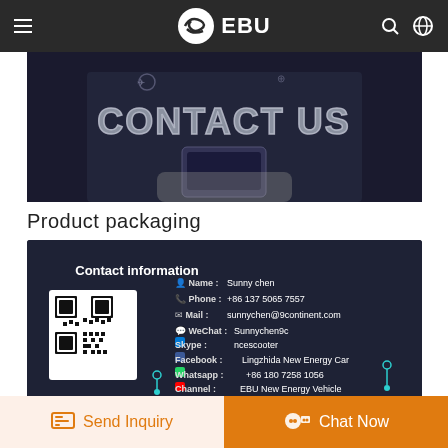EBU
[Figure (photo): Person in suit holding a smartphone displaying 'CONTACT US' text with glowing light effects and digital icons, dark background]
Product packaging
[Figure (infographic): Contact information card on dark navy background with QR code on left side. Name: Sunny chen, Phone: +86 137 5065 7557, Mail: sunnychen@9continent.com, WeChat: Sunnychen9c, Skype: ncescooter, Facebook: Lingzhida New Energy Car, Whatsapp: +86 180 7258 1056, Channel: EBU New Energy Vehicle]
Send Inquiry
Chat Now